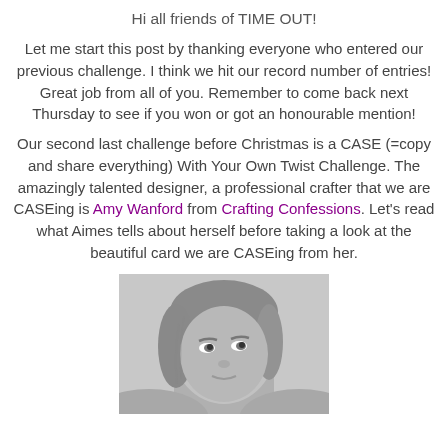Hi all friends of TIME OUT!
Let me start this post by thanking everyone who entered our previous challenge. I think we hit our record number of entries! Great job from all of you. Remember to come back next Thursday to see if you won or got an honourable mention!
Our second last challenge before Christmas is a CASE (=copy and share everything) With Your Own Twist Challenge. The amazingly talented designer, a professional crafter that we are CASEing is Amy Wanford from Crafting Confessions. Let's read what Aimes tells about herself before taking a look at the beautiful card we are CASEing from her.
[Figure (photo): Black and white portrait photo of a woman (Amy Wanford), cropped showing her face and top of head, looking upward slightly.]